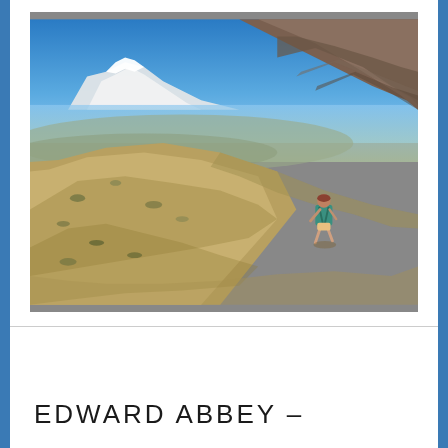[Figure (photo): A hiker with a green backpack ascending a steep rocky desert mountain slope. Snow-capped mountains and a wide valley are visible in the background under a bright blue sky. The terrain features brown and tan rocky hillsides with sparse scrub brush.]
EDWARD ABBEY –